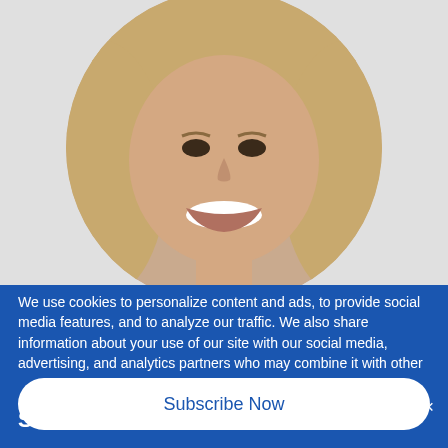[Figure (photo): Circular cropped headshot of a smiling woman with long blonde hair against a light gray background]
We use cookies to personalize content and ads, to provide social media features, and to analyze our traffic. We also share information about your use of our site with our social media, advertising, and analytics partners who may combine it with other
STAY IN THE KNOW!
Get the latest news & updates from the Neighborhood.
Subscribe Now